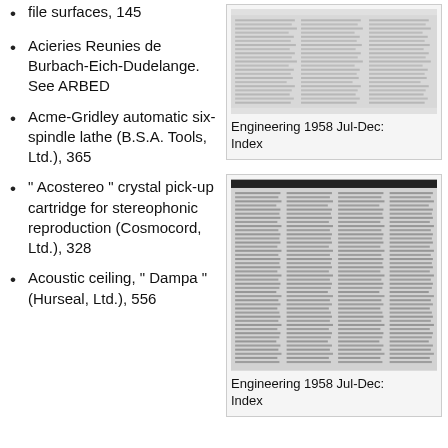file surfaces, 145
Acieries Reunies de Burbach-Eich-Dudelange. See ARBED
Acme-Gridley automatic six-spindle lathe (B.S.A. Tools, Ltd.), 365
" Acostereo " crystal pick-up cartridge for stereophonic reproduction (Cosmocord, Ltd.), 328
Acoustic ceiling, " Dampa " (Hurseal, Ltd.), 556
[Figure (photo): Scanned page of Engineering 1958 Jul-Dec Index]
Engineering 1958 Jul-Dec: Index
[Figure (photo): Scanned page of Engineering 1958 Jul-Dec Index]
Engineering 1958 Jul-Dec: Index